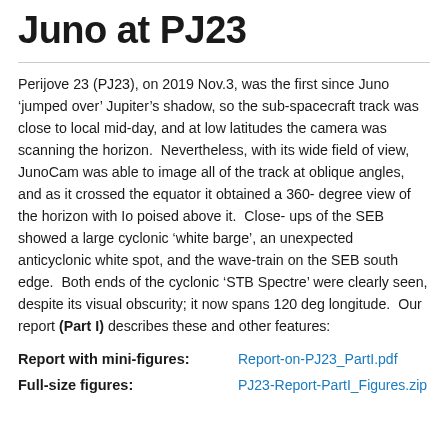Juno at PJ23
Perijove 23 (PJ23), on 2019 Nov.3, was the first since Juno ‘jumped over’ Jupiter’s shadow, so the sub-spacecraft track was close to local mid-day, and at low latitudes the camera was scanning the horizon.  Nevertheless, with its wide field of view, JunoCam was able to image all of the track at oblique angles, and as it crossed the equator it obtained a 360-degree view of the horizon with Io poised above it.  Close-ups of the SEB showed a large cyclonic ‘white barge’, an unexpected anticyclonic white spot, and the wave-train on the SEB south edge.  Both ends of the cyclonic ‘STB Spectre’ were clearly seen, despite its visual obscurity; it now spans 120 deg longitude.  Our report (Part I) describes these and other features:
Report with mini-figures:  Report-on-PJ23_PartI.pdf
Full-size figures:  PJ23-Report-PartI_Figures.zip